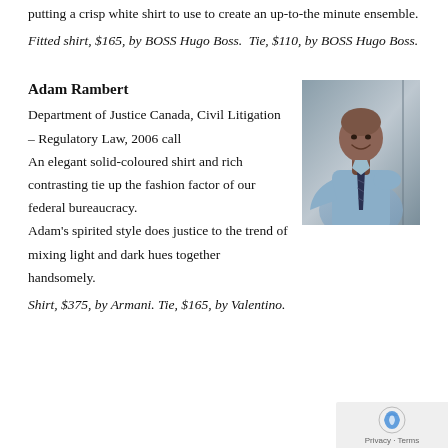putting a crisp white shirt to use to create an up-to-the minute ensemble.
Fitted shirt, $165, by BOSS Hugo Boss. Tie, $110, by BOSS Hugo Boss.
Adam Rambert
Department of Justice Canada, Civil Litigation – Regulatory Law, 2006 call
An elegant solid-coloured shirt and rich contrasting tie up the fashion factor of our federal bureaucracy.
Adam's spirited style does justice to the trend of mixing light and dark hues together handsomely.
[Figure (photo): Portrait photo of Adam Rambert, a man in a light blue shirt and dark striped tie, smiling, photographed from the waist up against a neutral background.]
Shirt, $375, by Armani. Tie, $165, by Valentino.